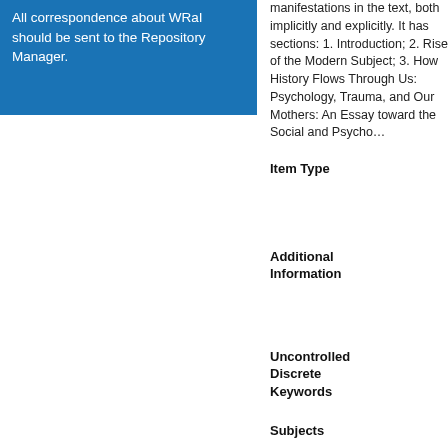All correspondence about WRaI should be sent to the Repository Manager.
manifestations in the text, both implicitly and explicitly. It has sections: 1. Introduction; 2. Rise of the Modern Subject; 3. How History Flows Through Us: Psychology, Trauma, and Our Mothers: An Essay Toward the Social and Psycho...
Item Type
Additional Information
Uncontrolled Discrete Keywords
Subjects
Divisions
Related URLs